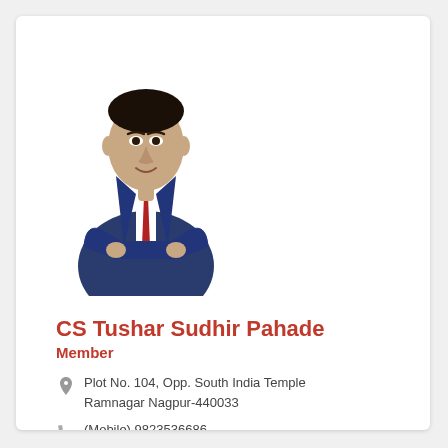[Figure (photo): Professional photo of CS Tushar Sudhir Pahade, a man in a dark blue suit with red tie, arms crossed, against white background]
CS Tushar Sudhir Pahade
Member
Plot No. 104, Opp. South India Temple Ramnagar Nagpur-440033
(Mobile) 9823536686
tusharpahade@gmail.com